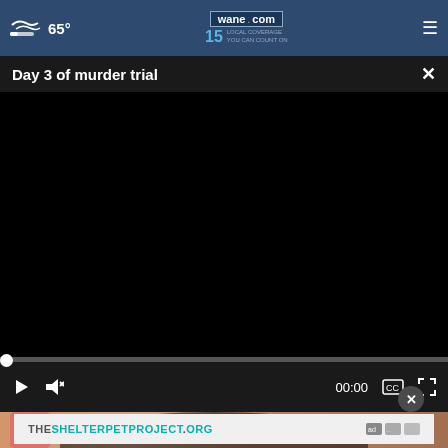65° wane.com 15 LOCAL COVERAGE YOU CAN COUNT ON
Day 3 of murder trial
[Figure (screenshot): Black video player screen with playback controls: play button, mute button, 00:00 timestamp, captions button, fullscreen button. Progress bar at bottom with white dot at start.]
[Figure (photo): Partial image below video player showing a person with dark lace pattern clothing and pink item, partially visible.]
THESHELTERPETPROJECT.ORG